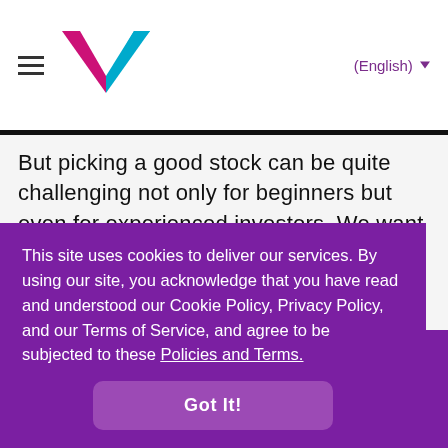(English)
But picking a good stock can be quite challenging not only for beginners but even for experienced investors. We want our investment to get good returns, don’t we? Investment knowledge is key to
This site uses cookies to deliver our services. By using our site, you acknowledge that you have read and understood our Cookie Policy, Privacy Policy, and our Terms of Service, and agree to be subjected to these Policies and Terms.
Got It!